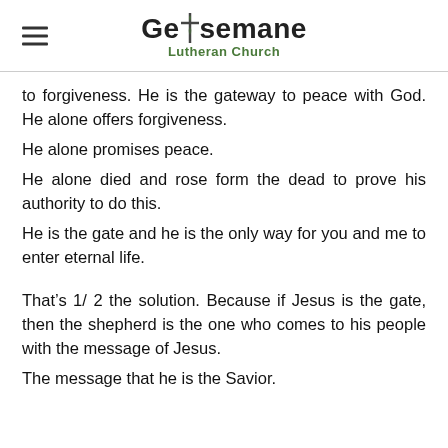Gethsemane Lutheran Church
to forgiveness. He is the gateway to peace with God. He alone offers forgiveness.
He alone promises peace.
He alone died and rose form the dead to prove his authority to do this.
He is the gate and he is the only way for you and me to enter eternal life.
That’s 1/ 2 the solution. Because if Jesus is the gate, then the shepherd is the one who comes to his people with the message of Jesus.
The message that he is the Savior.